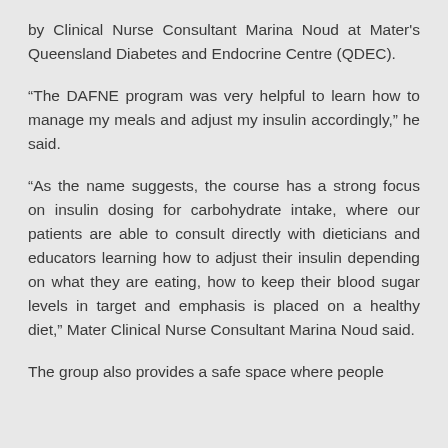by Clinical Nurse Consultant Marina Noud at Mater's Queensland Diabetes and Endocrine Centre (QDEC).
“The DAFNE program was very helpful to learn how to manage my meals and adjust my insulin accordingly,” he said.
“As the name suggests, the course has a strong focus on insulin dosing for carbohydrate intake, where our patients are able to consult directly with dieticians and educators learning how to adjust their insulin depending on what they are eating, how to keep their blood sugar levels in target and emphasis is placed on a healthy diet,” Mater Clinical Nurse Consultant Marina Noud said.
The group also provides a safe space where people